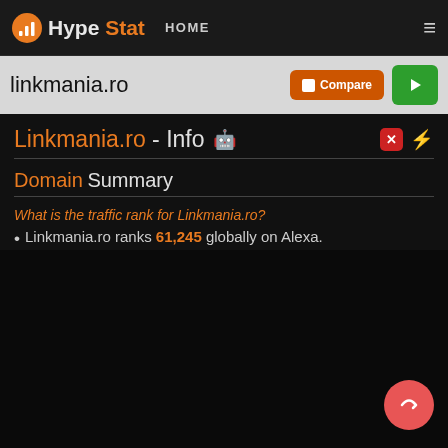HypeStat HOME ☰
linkmania.ro
Linkmania.ro - Info
Domain Summary
What is the traffic rank for Linkmania.ro?
Linkmania.ro ranks 61,245 globally on Alexa.